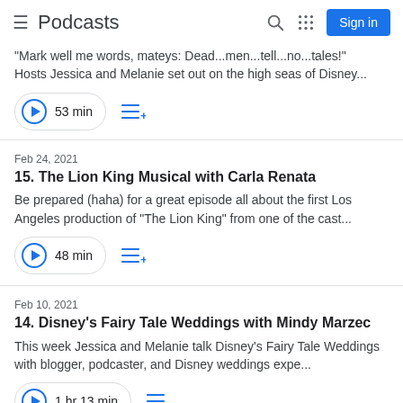Podcasts | Sign in
"Mark well me words, mateys: Dead...men...tell...no...tales!" Hosts Jessica and Melanie set out on the high seas of Disney...
53 min
Feb 24, 2021
15. The Lion King Musical with Carla Renata
Be prepared (haha) for a great episode all about the first Los Angeles production of "The Lion King" from one of the cast...
48 min
Feb 10, 2021
14. Disney's Fairy Tale Weddings with Mindy Marzec
This week Jessica and Melanie talk Disney's Fairy Tale Weddings with blogger, podcaster, and Disney weddings expe...